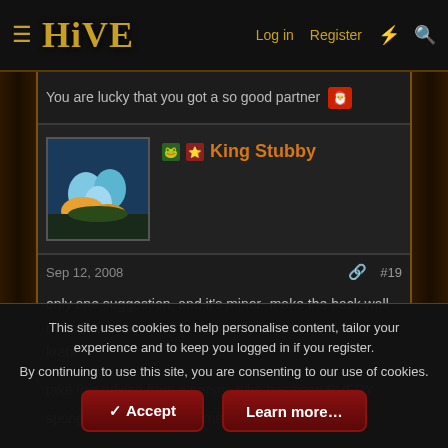HIVE — Log in  Register
You are lucky that you got a so good partner 😊
King Stubby
Sep 12, 2008  #19
only one suggestion, and it's minor- make the back wall metal. that way, it will look exactly like the real krusty krab!

take this advice from a person who has seen EVERY spongebob episode ever made. 😀
Code Lyoko
This site uses cookies to help personalise content, tailor your experience and to keep you logged in if you register.
By continuing to use this site, you are consenting to our use of cookies.